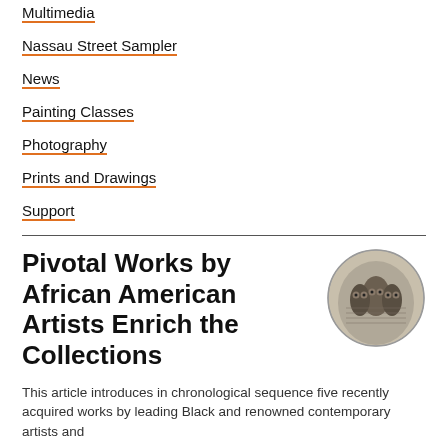Multimedia
Nassau Street Sampler
News
Painting Classes
Photography
Prints and Drawings
Support
Pivotal Works by African American Artists Enrich the Collections
[Figure (illustration): Circular thumbnail image of an artwork showing engraved or etched figures, likely birds or owls, in dark tones]
This article introduces in chronological sequence five recently acquired works by leading Black and renowned contemporary artists and